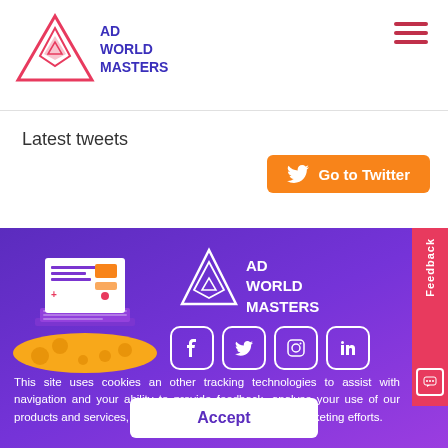[Figure (logo): Ad World Masters logo with triangle icon and hamburger menu]
Latest tweets
[Figure (other): Orange Go to Twitter button with Twitter bird icon]
[Figure (illustration): Purple footer section with Ad World Masters logo, illustration of laptop on cookie, social media icons (Facebook, Twitter, Instagram, LinkedIn), and Feedback tab]
This site uses cookies an other tracking technologies to assist with navigation and your ability to provide feedback, analyse your use of our products and services, assist with our promotional and marketing efforts.
[Figure (other): White Accept button]